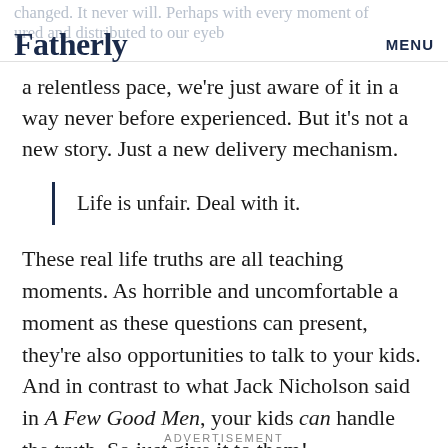Fatherly  MENU
a relentless pace, we're just aware of it in a way never before experienced. But it's not a new story. Just a new delivery mechanism.
Life is unfair. Deal with it.
These real life truths are all teaching moments. As horrible and uncomfortable a moment as these questions can present, they're also opportunities to talk to your kids. And in contrast to what Jack Nicholson said in A Few Good Men, your kids can handle the truth. So just give it to them!
ADVERTISEMENT